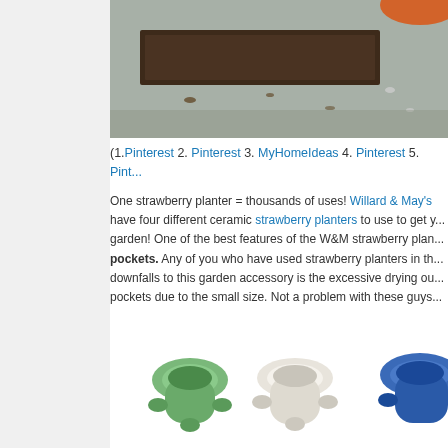[Figure (photo): Close-up photo of a terracotta or concrete surface with soil and a dark plank/board, appears to be a garden setting.]
(1.Pinterest 2. Pinterest 3. MyHomeIdeas 4. Pinterest 5. Pint...
One strawberry planter = thousands of uses! Willard & May's have four different ceramic strawberry planters to use to get your garden! One of the best features of the W&M strawberry planters is the large pockets. Any of you who have used strawberry planters in the past know one of the downfalls to this garden accessory is the excessive drying out of the soil in the pockets due to the small size. Not a problem with these guys...
[Figure (photo): Three ceramic strawberry planters in green, white/cream, and blue colors, each with side pockets for planting.]